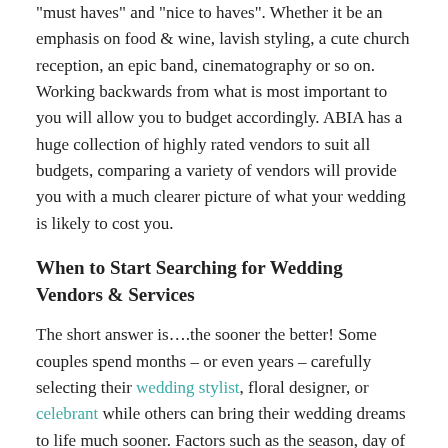“must haves” and “nice to haves”. Whether it be an emphasis on food & wine, lavish styling, a cute church reception, an epic band, cinematography or so on. Working backwards from what is most important to you will allow you to budget accordingly. ABIA has a huge collection of highly rated vendors to suit all budgets, comparing a variety of vendors will provide you with a much clearer picture of what your wedding is likely to cost you.
When to Start Searching for Wedding Vendors & Services
The short answer is….the sooner the better! Some couples spend months – or even years – carefully selecting their wedding stylist, floral designer, or celebrant while others can bring their wedding dreams to life much sooner. Factors such as the season, day of the week and location all can impact greatly on how much lead time you may require when planning your wedding. Regardless of how long or short your engagement is, ABIA recommends locking in your venue as soon as possible, with